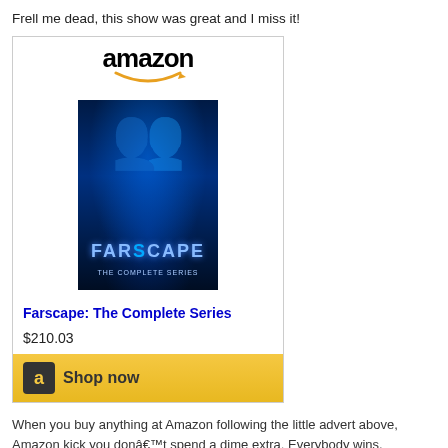Frell me dead, this show was great and I miss it!
[Figure (other): Amazon product widget showing Farscape: The Complete Series for $210.03 with a Shop now button]
When you buy anything at Amazon following the little advert above, Amazon kick you don’t spend a dime extra. Everybody wins.
[Figure (other): Tweet This and Facebook social sharing buttons]
Inspiration, Media, Moves and TV, Personal    Farscape, Frell
Leave a comment